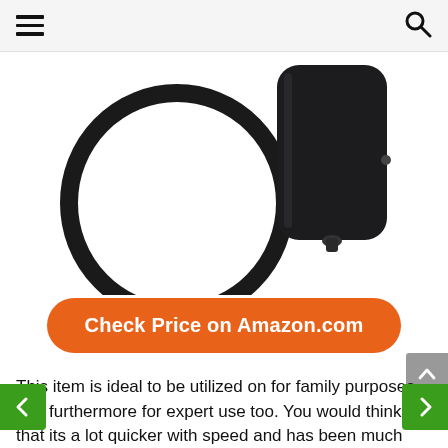Navigation header with hamburger menu and search icon
[Figure (photo): Product photo showing a circular ring/gasket and a black cylindrical filter canister component on white background]
[Figure (other): Orange rounded rectangle button with white bold text: Check Price on Amazon.com]
This item is ideal to be utilized on for family purposes and furthermore for expert use too. You would think that its a lot quicker with speed and has been much strong also with the highlights of being